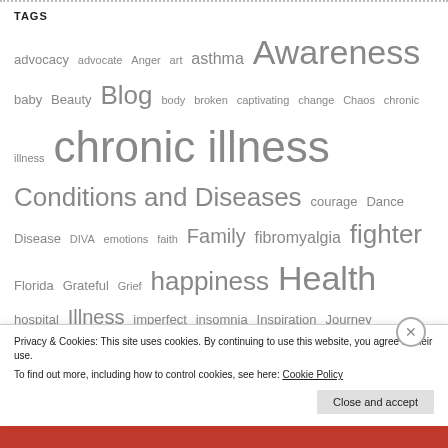TAGS
advocacy advocate Anger art asthma Awareness baby Beauty Blog body broken captivating change Chaos chronic illness chronic illness Conditions and Diseases courage Dance Disease DIVA emotions faith Family fibromyalgia fighter Florida Grateful Grief happiness Health hospital Illness imperfect insomnia Inspiration Journey Laughter Lessons Life limits Live living living with lupus loss Love Lupie Lupus Lupus Awareness lupusawareness Medicine moments pain passion positive Prednisone put on purple quote Rain research Sadness SecondChances ShareThis SLE Sleep strength Systemic lupus erythematosus Thanks Undefeated Undefeated Diva understanding Walk warrior woman write
Privacy & Cookies: This site uses cookies. By continuing to use this website, you agree to their use.
To find out more, including how to control cookies, see here: Cookie Policy
Close and accept